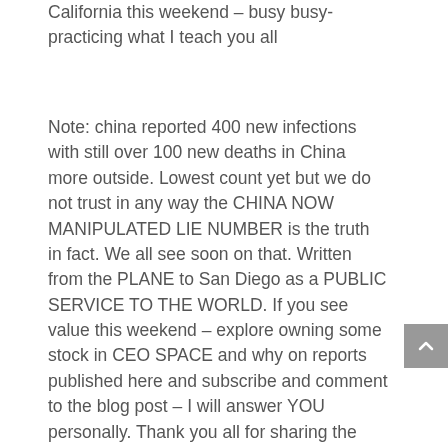California this weekend – busy busy- practicing what I teach you all
Note: china reported 400 new infections with still over 100 new deaths in China more outside. Lowest count yet but we do not trust in any way the CHINA NOW MANIPULATED LIE NUMBER is the truth in fact. We all see soon on that. Written from the PLANE to San Diego as a PUBLIC SERVICE TO THE WORLD. If you see value this weekend – explore owning some stock in CEO SPACE and why on reports published here and subscribe and comment to the blog post – I will answer YOU personally. Thank you all for sharing the ONE PANDEMIC SUPER SITE – first since